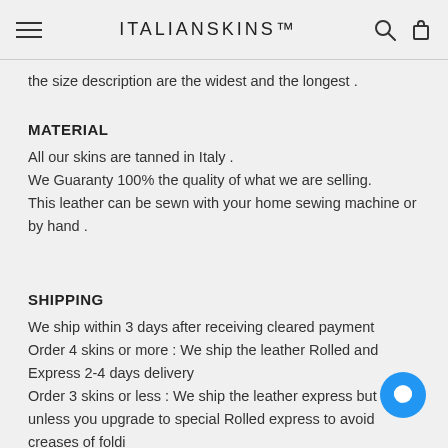ITALIANSKINS™
the size description are the widest and the longest .
MATERIAL
All our skins are tanned in Italy .
We Guaranty 100% the quality of what we are selling.
This leather can be sewn with your home sewing machine or by hand .
SHIPPING
We ship within 3 days after receiving cleared payment
Order 4 skins or more : We ship the leather Rolled and Express 2-4 days delivery
Order 3 skins or less : We ship the leather express but Fo unless you upgrade to special Rolled express to avoid creases of foldi...